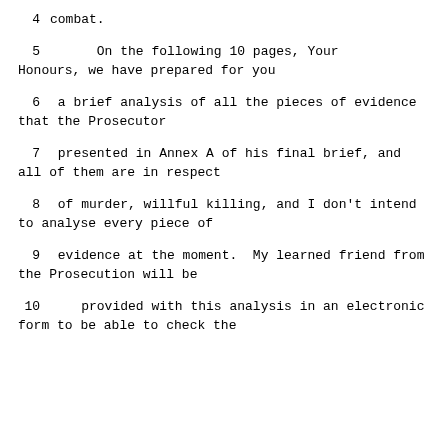4    combat.
5         On the following 10 pages, Your Honours, we have prepared for you
6     a brief analysis of all the pieces of evidence that the Prosecutor
7     presented in Annex A of his final brief, and all of them are in respect
8     of murder, willful killing, and I don't intend to analyse every piece of
9     evidence at the moment.  My learned friend from the Prosecution will be
10    provided with this analysis in an electronic form to be able to check the